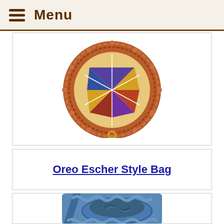Menu
[Figure (photo): Round crochet bag with quilt-patterned center in red, purple, blue and yellow colors, with a gold ring at the bottom.]
Oreo Escher Style Bag
[Figure (photo): Blue crochet crossbody bag with an Escher-style embroidered flap in teal and green tones.]